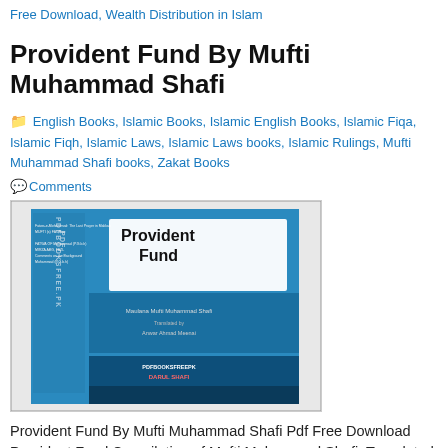Free Download, Wealth Distribution in Islam
Provident Fund By Mufti Muhammad Shafi
English Books, Islamic Books, Islamic English Books, Islamic Fiqa, Islamic Fiqh, Islamic Laws, Islamic Laws books, Islamic Rulings, Mufti Muhammad Shafi books, Zakat Books
Comments
[Figure (photo): Book cover of Provident Fund by Mufti Muhammad Shafi - a blue book with spine text and front cover showing title and author details]
Provident Fund By Mufti Muhammad Shafi Pdf Free Download Provident Fund Compilation of Mufti Muhammad Shafi. Translated in to English By Anwar Ahmad Meenai. This book containing Islamic ruling and Sharia orders about the payment of